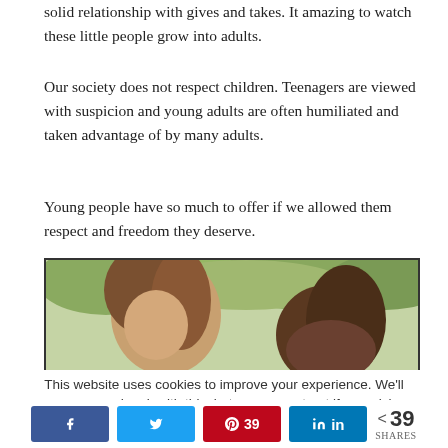solid relationship with gives and takes. It amazing to watch these little people grow into adults.
Our society does not respect children. Teenagers are viewed with suspicion and young adults are often humiliated and taken advantage of by many adults.
Young people have so much to offer if we allowed them respect and freedom they deserve.
[Figure (photo): Outdoor photo of young people, showing a girl with long hair in the foreground against a leafy green background]
This website uses cookies to improve your experience. We'll assume you're ok with this, but you can opt-out if you wish.
< 39 SHARES [social share buttons: Facebook, Twitter, Pinterest 39, LinkedIn]